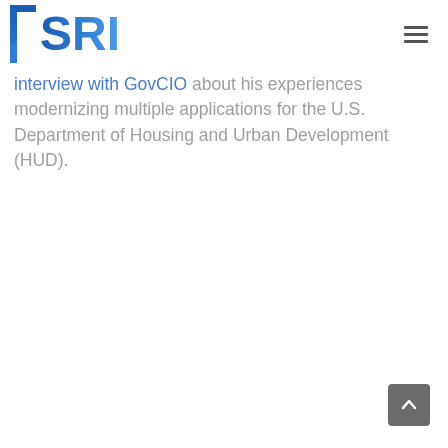TSRI
interview with GovCIO about his experiences modernizing multiple applications for the U.S. Department of Housing and Urban Development (HUD).